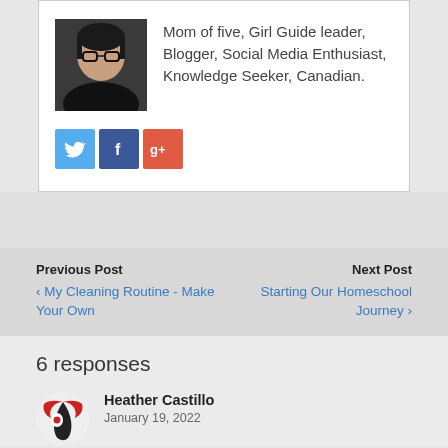Mom of five, Girl Guide leader, Blogger, Social Media Enthusiast, Knowledge Seeker, Canadian.
[Figure (other): Social media icons: Twitter (blue bird), Facebook (blue f), Google+ (orange g+)]
Previous Post
‹ My Cleaning Routine - Make Your Own
Next Post
Starting Our Homeschool Journey ›
6 responses
Heather Castillo
January 19, 2022